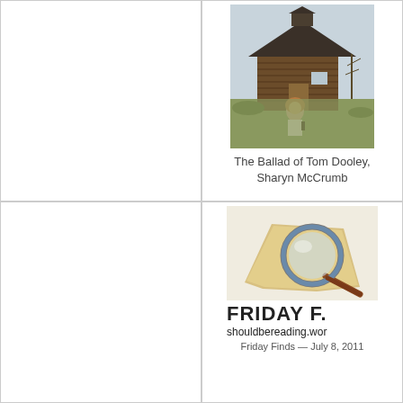[Figure (photo): Photo of a woman standing in front of a log cabin building with a small cupola, outdoors, trees in background. Book cover or author photo for The Ballad of Tom Dooley by Sharyn McCrumb.]
The Ballad of Tom Dooley, Sharyn McCrumb
[Figure (logo): Friday Finds logo featuring a magnifying glass over paper/map, with text FRIDAY F... and shouldbereading.wor]
Friday Finds — July 8, 2011